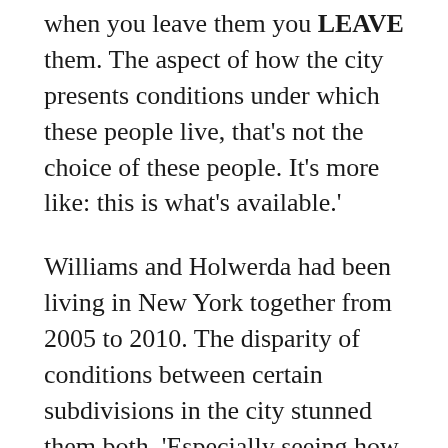when you leave them you LEAVE them. The aspect of how the city presents conditions under which these people live, that's not the choice of these people. It's more like: this is what's available.'
Williams and Holwerda had been living in New York together from 2005 to 2010. The disparity of conditions between certain subdivisions in the city stunned them both. 'Especially seeing how this actually affected the mentality of people there,' Gloria laments. 'The children, how they lived. But also how the city treated them. They had less actual public services. We lived in Museum Mile on Fifth Avenue up on the East side. But you could tell the difference between the care in that area to the facilities